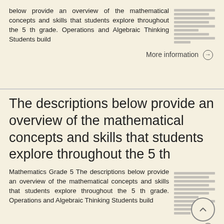below provide an overview of the mathematical concepts and skills that students explore throughout the 5 th grade. Operations and Algebraic Thinking Students build
More information →
The descriptions below provide an overview of the mathematical concepts and skills that students explore throughout the 5 th
Mathematics Grade 5 The descriptions below provide an overview of the mathematical concepts and skills that students explore throughout the 5 th grade. Operations and Algebraic Thinking Students build
More information →
5 th Grade: Trimester 1 Report Card